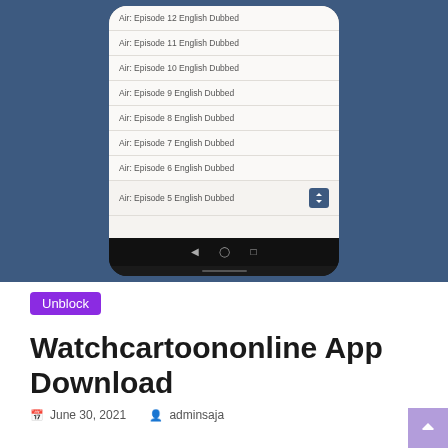[Figure (screenshot): Screenshot of a mobile app showing a list of cartoon episodes: Air: Episode 12 English Dubbed, Air: Episode 11 English Dubbed, Air: Episode 10 English Dubbed, Air: Episode 9 English Dubbed, Air: Episode 8 English Dubbed, Air: Episode 7 English Dubbed, Air: Episode 6 English Dubbed, Air: Episode 5 English Dubbed (with sort button), displayed on an Android phone with navigation bar, on a blue-grey background.]
Unblock
Watchcartoononline App Download
June 30, 2021   adminsaja